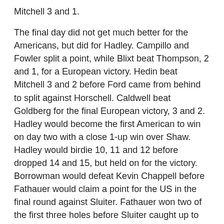Mitchell 3 and 1.
The final day did not get much better for the Americans, but did for Hadley. Campillo and Fowler split a point, while Blixt beat Thompson, 2 and 1, for a European victory. Hedin beat Mitchell 3 and 2 before Ford came from behind to split against Horschell. Caldwell beat Goldberg for the final European victory, 3 and 2. Hadley would become the first American to win on day two with a close 1-up win over Shaw. Hadley would birdie 10, 11 and 12 before dropped 14 and 15, but held on for the victory. Borrowman would defeat Kevin Chappell before Fathauer would claim a point for the US in the final round against Sluiter. Fathauer won two of the first three holes before Sluiter caught up to tie the match, but Fathauer won two of the final three holes for the match.
Hadley will return to Tech next season to lead a team that finished out of the top-10 in their regional for the